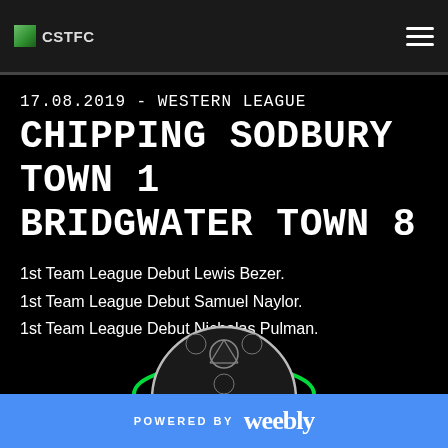CSTFC
17.08.2019 - WESTERN LEAGUE
CHIPPING SODBURY TOWN 1
BRIDGWATER TOWN 8
1st Team League Debut Lewis Bezer.
1st Team League Debut Samuel Naylor.
1st Team League Debut Nicholas Pulman.
[Figure (illustration): Soccer ball with green glow at bottom of page]
POWERED BY weebly